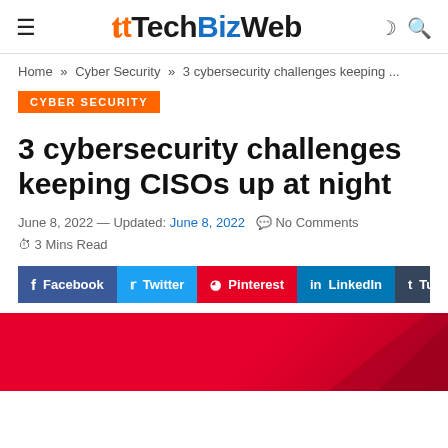TechBizWeb
Home » Cyber Security » 3 cybersecurity challenges keeping ...
CYBER SECURITY
3 cybersecurity challenges keeping CISOs up at night
June 8, 2022 — Updated: June 8, 2022  No Comments  3 Mins Read
[Figure (infographic): Social share buttons: Facebook, Twitter, Pinterest, LinkedIn, Tumblr, WhatsApp]
[Figure (photo): Red background image with dark geometric shape on the right side]